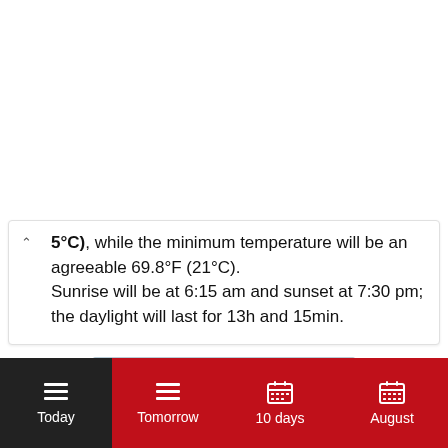5°C), while the minimum temperature will be an agreeable 69.8°F (21°C). Sunrise will be at 6:15 am and sunset at 7:30 pm; the daylight will last for 13h and 15min.
[Figure (photo): Photo of glaciers/icebergs with the word ALASKA displayed in white text over the image]
Today  Tomorrow  10 days  August